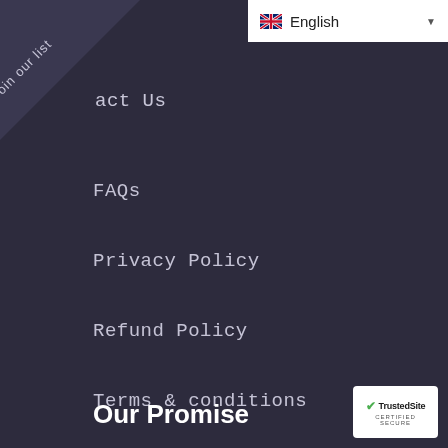English
Join our list
act Us
FAQs
Privacy Policy
Refund Policy
Terms & conditions
Shipping Policy
Terms of Service
Our Promise
[Figure (logo): TrustedSite Certified Secure badge with green checkmark]